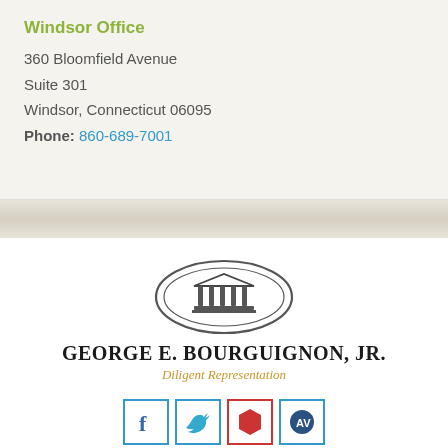Windsor Office
360 Bloomfield Avenue
Suite 301
Windsor, Connecticut 06095
Phone: 860-689-7001
[Figure (logo): Law firm logo with Greek temple columns in oval frame, firm name GEORGE E. BOURGUIGNON, JR. and tagline Diligent Representation]
[Figure (infographic): Row of social media icons: Facebook (blue border, f), Twitter (blue border, bird), red hexagon icon (red border), and a dark icon (blue border)]
CONTACT